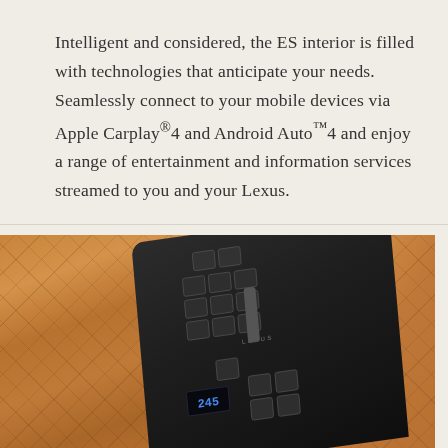Intelligent and considered, the ES interior is filled with technologies that anticipate your needs. Seamlessly connect to your mobile devices via Apple Carplay®4 and Android Auto™4 and enjoy a range of entertainment and information services streamed to you and your Lexus.
[Figure (photo): Close-up photo of a Lexus ES interior center console control panel with multiple buttons and a digital display showing '245', set against tan/caramel quilted leather seats. A navigation arrow overlay appears on the right edge.]